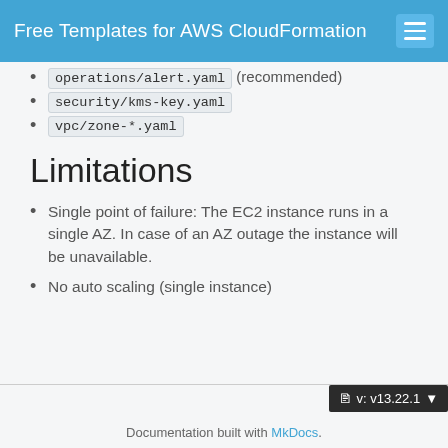Free Templates for AWS CloudFormation
operations/alert.yaml (recommended)
security/kms-key.yaml
vpc/zone-*.yaml
Limitations
Single point of failure: The EC2 instance runs in a single AZ. In case of an AZ outage the instance will be unavailable.
No auto scaling (single instance)
v: v13.22.1
Documentation built with MkDocs.